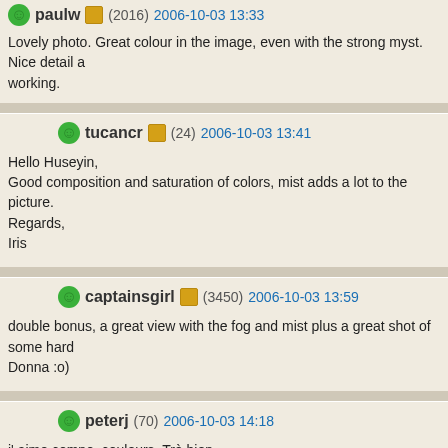paulw (2016) 2006-10-03 13:33
Lovely photo. Great colour in the image, even with the strong myst. Nice detail a... working.
tucancr (24) 2006-10-03 13:41
Hello Huseyin,
Good composition and saturation of colors, mist adds a lot to the picture.
Regards,
Iris
captainsgirl (3450) 2006-10-03 13:59
double bonus, a great view with the fog and mist plus a great shot of some hard...
Donna :o)
peterj (70) 2006-10-03 14:18
j' aime compo, couleurs. Trè bien.
hantonbuiu (51815) 2006-10-03 14:20